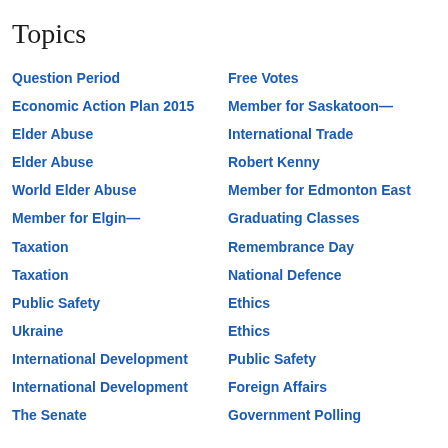Topics
Question Period
Free Votes
Economic Action Plan 2015
Member for Saskatoon—
Elder Abuse
International Trade
Elder Abuse
Robert Kenny
World Elder Abuse
Member for Edmonton East
Member for Elgin—
Graduating Classes
Taxation
Remembrance Day
Taxation
National Defence
Public Safety
Ethics
Ukraine
Ethics
International Development
Public Safety
International Development
Foreign Affairs
The Senate
Government Polling